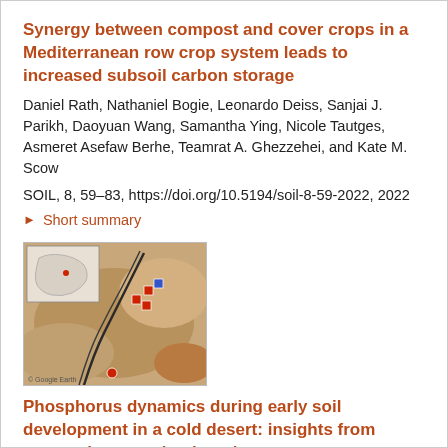Synergy between compost and cover crops in a Mediterranean row crop system leads to increased subsoil carbon storage
Daniel Rath, Nathaniel Bogie, Leonardo Deiss, Sanjai J. Parikh, Daoyuan Wang, Samantha Ying, Nicole Tautges, Asmeret Asefaw Berhe, Teamrat A. Ghezzehei, and Kate M. Scow
SOIL, 8, 59–83, https://doi.org/10.5194/soil-8-59-2022, 2022
▶ Short summary
[Figure (map): Thumbnail map image showing a satellite/aerial view of a geographic region, with a small inset map of a larger region showing location context. The main image shows a brownish desert or arid terrain with black curved lines (likely roads or paths) and colored location markers (red and blue squares/pins).]
Phosphorus dynamics during early soil development in a cold desert: insights from oxygen isotopes in phosphate